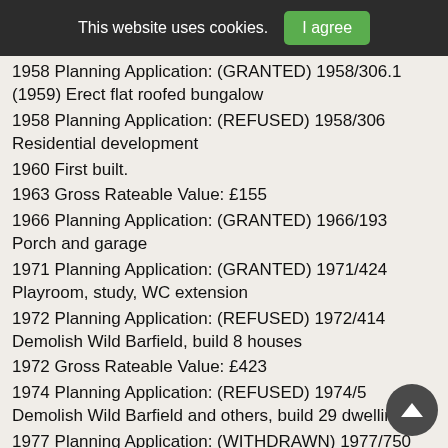This website uses cookies. | I agree
1958 Planning Application: (GRANTED) 1958/306.1 (1959) Erect flat roofed bungalow
1958 Planning Application: (REFUSED) 1958/306 Residential development
1960 First built.
1963 Gross Rateable Value: £155
1966 Planning Application: (GRANTED) 1966/193 Porch and garage
1971 Planning Application: (GRANTED) 1971/424 Playroom, study, WC extension
1972 Planning Application: (REFUSED) 1972/414 Demolish Wild Barfield, build 8 houses
1972 Gross Rateable Value: £423
1974 Planning Application: (REFUSED) 1974/5 Demolish Wild Barfield and others, build 29 dwellings
1977 Planning Application: (WITHDRAWN) 1977/750 Demolish Wild Barfield, develop 0.47 ha land